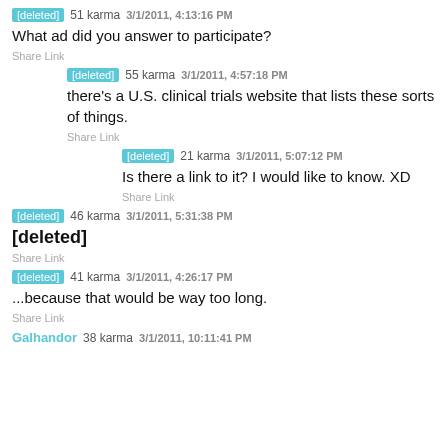[deleted] 51 karma 3/1/2011, 4:13:16 PM
What ad did you answer to participate?
Share Link
[deleted] 55 karma 3/1/2011, 4:57:18 PM
there's a U.S. clinical trials website that lists these sorts of things.
Share Link
[deleted] 21 karma 3/1/2011, 5:07:12 PM
Is there a link to it? I would like to know. XD
Share Link
[deleted] 46 karma 3/1/2011, 5:31:38 PM
[deleted]
Share Link
[deleted] 41 karma 3/1/2011, 4:26:17 PM
...because that would be way too long.
Share Link
Galhandor 38 karma 3/1/2011, 10:11:41 PM